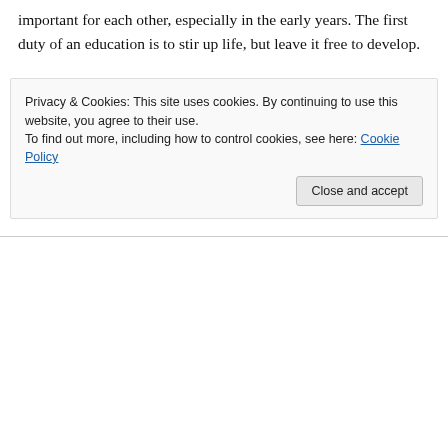important for each other, especially in the early years. The first duty of an education is to stir up life, but leave it free to develop.
–Maria Montessori
Three is the new two. Two is the new three.
–New York Magazine
↵ Reply
Privacy & Cookies: This site uses cookies. By continuing to use this website, you agree to their use.
To find out more, including how to control cookies, see here: Cookie Policy
Close and accept